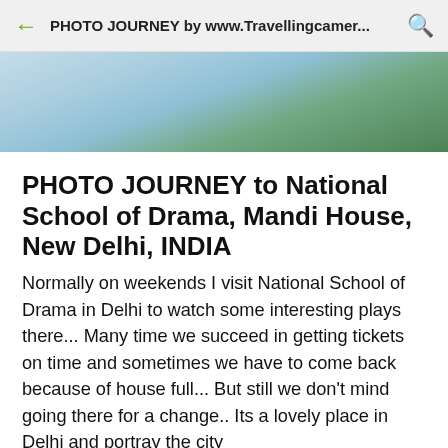PHOTO JOURNEY by www.Travellingcamer...
[Figure (photo): Blurred outdoor photo with sky and green foliage in the background]
PHOTO JOURNEY to National School of Drama, Mandi House, New Delhi, INDIA
Normally on weekends I visit National School of Drama in Delhi to watch some interesting plays there... Many time we succeed in getting tickets on time and sometimes we have to come back because of house full... But still we don't mind going there for a change.. Its a lovely place in Delhi and portray the city